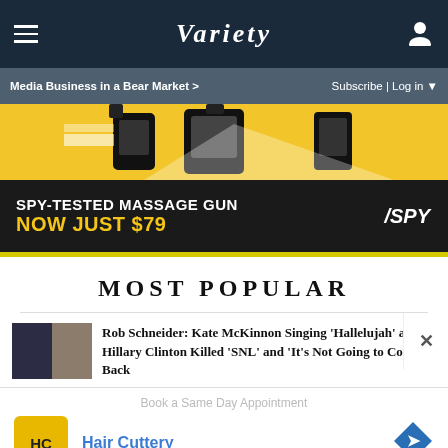VARIETY
Media Business in a Bear Market >
Subscribe | Log in
[Figure (illustration): SPY-TESTED MASSAGE GUN advertisement banner. Top section shows yellow background with illustrated massage gun device. Bottom section has dark background with text: SPY-TESTED MASSAGE GUN / NOW JUST $79 and SPY logo.]
MOST POPULAR
Rob Schneider: Kate McKinnon Singing 'Hallelujah' as Hillary Clinton Killed 'SNL' and 'It's Not Going to Come Back
[Figure (illustration): Hair Cuttery advertisement overlay. Shows Hair Cuttery HC logo, text 'Book a Same Day Appointment' and 'Hair Cuttery' in blue, with navigation/directions icon.]